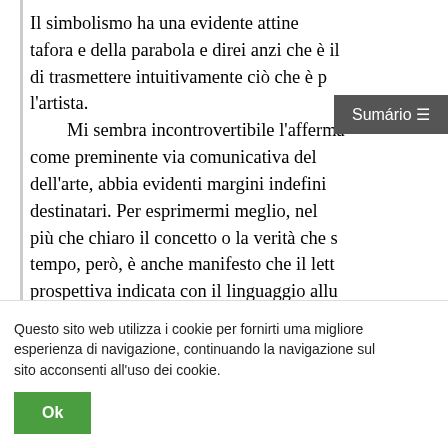Il simbolismo ha una evidente attine tafora e della parabola e direi anzi che è il di trasmettere intuitivamente ciò che è p l'artista. Mi sembra incontrovertibile l'afferma come preminente via comunicativa del dell'arte, abbia evidenti margini indefini destinatari. Per esprimermi meglio, nel più che chiaro il concetto o la verità che s tempo, però, è anche manifesto che il lett prospettiva indicata con il linguaggio allu un possibile sconfinamento, per lo meno proposta propria dell'artista. È sottint
[Figure (screenshot): Gray navigation button labeled 'Sumário' with a hamburger menu icon (≡) on the right side]
Questo sito web utilizza i cookie per fornirti uma migliore esperienza di navigazione, continuando la navigazione sul sito acconsenti all'uso dei cookie.
[Figure (other): Green 'Ok' button for cookie consent]